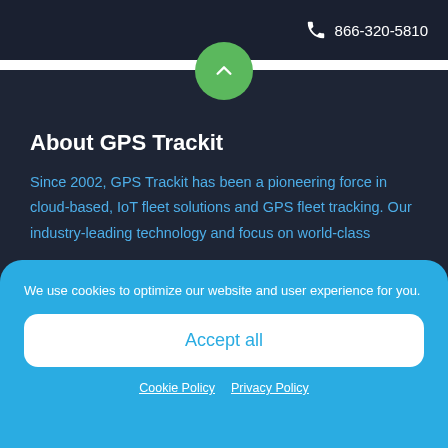866-320-5810
About GPS Trackit
Since 2002, GPS Trackit has been a pioneering force in cloud-based, IoT fleet solutions and GPS fleet tracking. Our industry-leading technology and focus on world-class
We use cookies to optimize our website and user experience for you.
Accept all
Cookie Policy  Privacy Policy